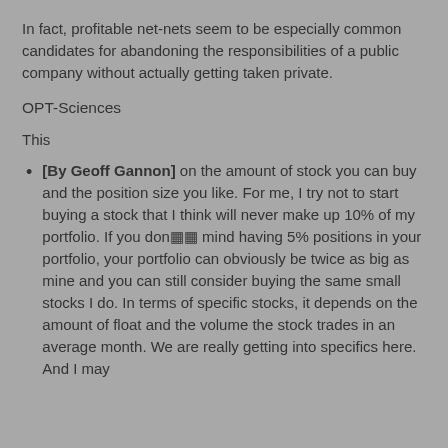In fact, profitable net-nets seem to be especially common candidates for abandoning the responsibilities of a public company without actually getting taken private.
OPT-Sciences
This
[By Geoff Gannon] on the amount of stock you can buy and the position size you like. For me, I try not to start buying a stock that I think will never make up 10% of my portfolio. If you don�� mind having 5% positions in your portfolio, your portfolio can obviously be twice as big as mine and you can still consider buying the same small stocks I do. In terms of specific stocks, it depends on the amount of float and the volume the stock trades in an average month. We are really getting into specifics here. And I may